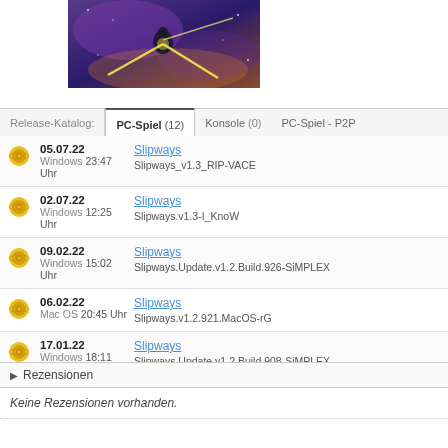[Figure (illustration): Game artwork showing a space/cosmic scene with a figure shooting light beams, purple nebula background]
| Release-Katalog: | PC-Spiel (12) | Konsole (0) | PC-Spiel - P2P |
| --- | --- | --- | --- |
| [icon] | 05.07.22
Windows 23:47 Uhr | Slipways | Slipways_v1.3_RIP-VACE |
| [icon] | 02.07.22
Windows 12:25 Uhr | Slipways | Slipways.v1.3-I_KnoW |
| [icon] | 09.02.22
Windows 15:02 Uhr | Slipways | Slipways.Update.v1.2.Build.926-SiMPLEX |
| [icon] | 06.02.22
Mac OS 20:45 Uhr | Slipways | Slipways.v1.2.921.MacOS-rG |
| [icon] | 17.01.22
Windows 18:11 Uhr | Slipways | Slipways.Update.v1.2.Build.908-SiMPLEX |
▶ Rezensionen
Keine Rezensionen vorhanden.